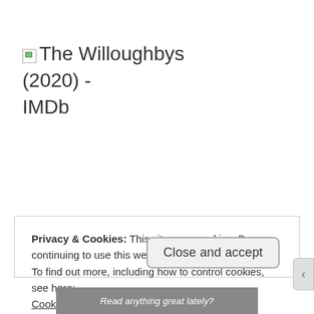The Willoughbys (2020) - IMDb
Privacy & Cookies: This site uses cookies. By continuing to use this website, you agree to their use.
To find out more, including how to control cookies, see here:
Cookie Policy
Close and accept